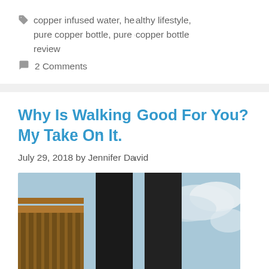copper infused water, healthy lifestyle, pure copper bottle, pure copper bottle review
2 Comments
Why Is Walking Good For You? My Take On It.
July 29, 2018 by Jennifer David
[Figure (photo): Photo of a person walking, showing legs in black pants with a bridge/railing and cloudy sky in background]